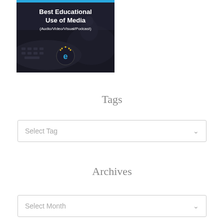[Figure (illustration): Award graphic with dark background showing a person at a computer. Bold white text reads 'Best Educational Use of Media (Audio/Video/Visual/Podcast)' with a circular logo featuring a blue 'e' and yellow crown/star at the bottom center. A blue bar runs across the top.]
Tags
Select Tag
Archives
Select Month